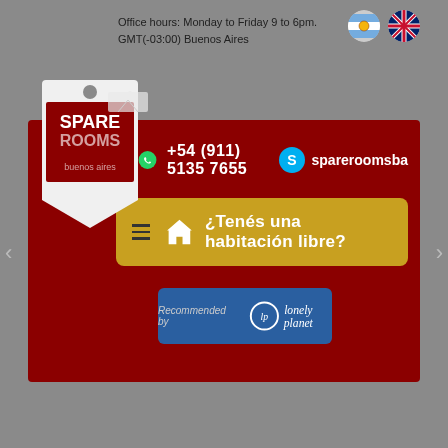Office hours: Monday to Friday 9 to 6pm. GMT(-03:00) Buenos Aires
[Figure (screenshot): Spare Rooms Buenos Aires banner with WhatsApp number +54 (911) 5135 7655, Skype spareroomsba, yellow button ¿Tenés una habitación libre?, and Recommended by Lonely Planet badge]